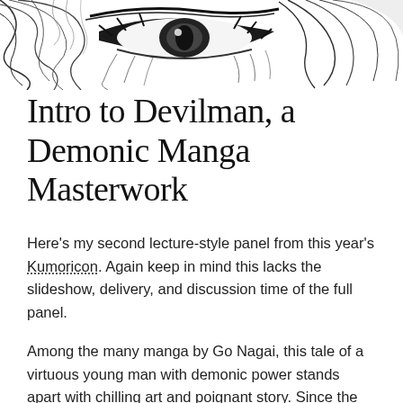[Figure (illustration): Black and white manga-style illustration showing a close-up of a demonic eye with flowing hair or feathers around it, sketchy ink style]
Intro to Devilman, a Demonic Manga Masterwork
Here's my second lecture-style panel from this year's Kumoricon. Again keep in mind this lacks the slideshow, delivery, and discussion time of the full panel.
Among the many manga by Go Nagai, this tale of a virtuous young man with demonic power stands apart with chilling art and poignant story. Since the 1970s, the Devilman universe has expanded with spinoffs and adaptations as well as influenced modern creators. There is a lot of Devilman-related media out there and it would be impossible for me to talk about everything, so I'm sticking to ones I consider important or noteworthy or